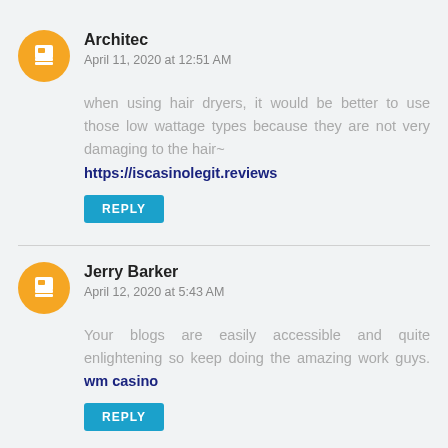Architec
April 11, 2020 at 12:51 AM
when using hair dryers, it would be better to use those low wattage types because they are not very damaging to the hair~ https://iscasinolegit.reviews
REPLY
Jerry Barker
April 12, 2020 at 5:43 AM
Your blogs are easily accessible and quite enlightening so keep doing the amazing work guys. wm casino
REPLY
fgisea